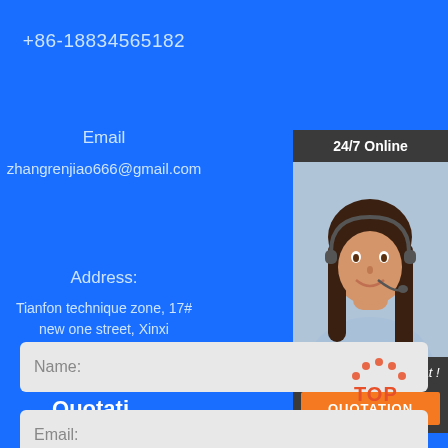+86-18834565182
Email
zhangrenjiao666@gmail.com
Address:
Tianfon technique zone, 17# new one street, Xinxi Province, China
Get Solutions & Quotation
[Figure (photo): 24/7 online customer support chat widget with a smiling woman wearing a headset, a 'Click here for free chat!' label, and an orange QUOTATION button]
Name:
Email: